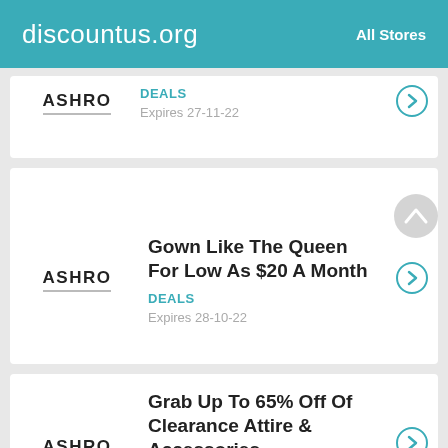discountus.org  All Stores
ASHRO
DEALS
Expires 27-11-22
Gown Like The Queen For Low As $20 A Month
ASHRO
DEALS
Expires 28-10-22
Grab Up To 65% Off Of Clearance Attire & Accessories
ASHRO